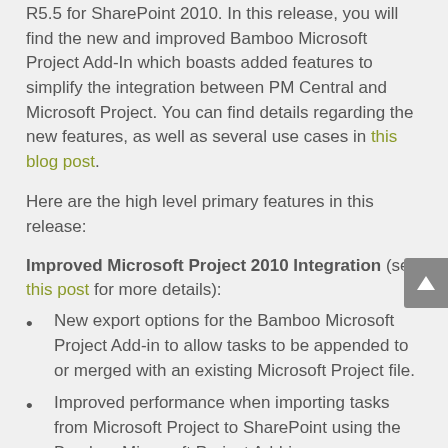R5.5 for SharePoint 2010. In this release, you will find the new and improved Bamboo Microsoft Project Add-In which boasts added features to simplify the integration between PM Central and Microsoft Project. You can find details regarding the new features, as well as several use cases in this blog post.
Here are the high level primary features in this release:
Improved Microsoft Project 2010 Integration (see this post for more details):
New export options for the Bamboo Microsoft Project Add-in to allow tasks to be appended to or merged with an existing Microsoft Project file.
Improved performance when importing tasks from Microsoft Project to SharePoint using the Bamboo Microsoft Project Add-in.